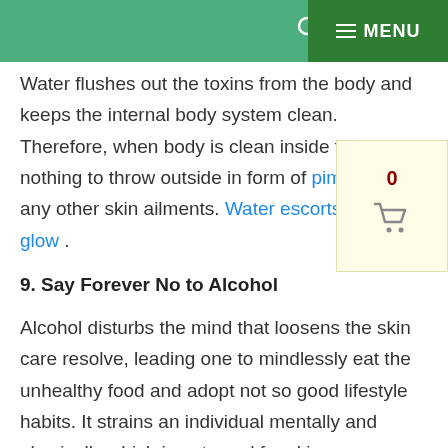MENU
Water flushes out the toxins from the body and keeps the internal body system clean. Therefore, when body is clean inside there is nothing to throw outside in form of pimples or any other skin ailments. Water escorts the skin glow .
9. Say Forever No to Alcohol
Alcohol disturbs the mind that loosens the skin care resolve, leading one to mindlessly eat the unhealthy food and adopt not so good lifestyle habits. It strains an individual mentally and physically which is not good for skin.